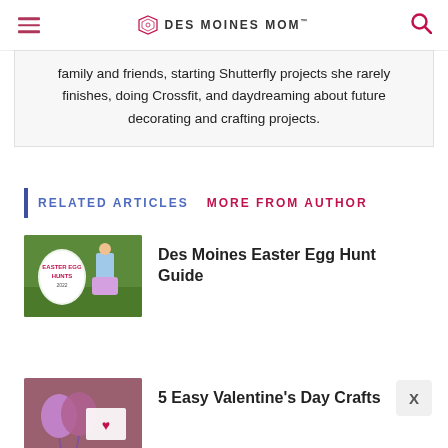DES MOINES MOM
family and friends, starting Shutterfly projects she rarely finishes, doing Crossfit, and daydreaming about future decorating and crafting projects.
RELATED ARTICLES   MORE FROM AUTHOR
[Figure (photo): Easter egg hunt themed image with grass background and Easter egg bucket]
Des Moines Easter Egg Hunt Guide
[Figure (photo): Child holding purple balloons and paper craft for Valentine's Day]
5 Easy Valentine's Day Crafts